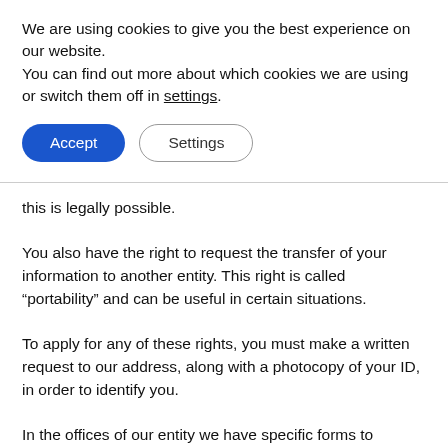We are using cookies to give you the best experience on our website.
You can find out more about which cookies we are using or switch them off in settings.
Accept | Settings
this is legally possible.
You also have the right to request the transfer of your information to another entity. This right is called “portability” and can be useful in certain situations.
To apply for any of these rights, you must make a written request to our address, along with a photocopy of your ID, in order to identify you.
In the offices of our entity we have specific forms to request these rights and we offer you our help for their fulfillment.
To learn more about your data protection rights, you